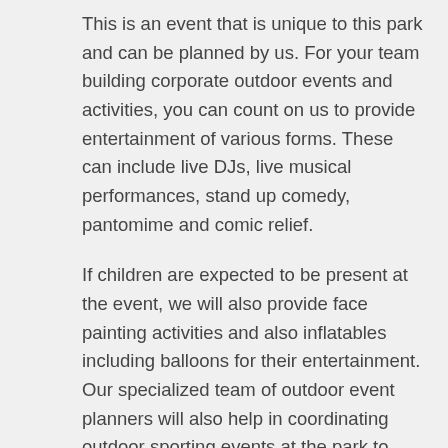This is an event that is unique to this park and can be planned by us. For your team building corporate outdoor events and activities, you can count on us to provide entertainment of various forms. These can include live DJs, live musical performances, stand up comedy, pantomime and comic relief.
If children are expected to be present at the event, we will also provide face painting activities and also inflatables including balloons for their entertainment. Our specialized team of outdoor event planners will also help in coordinating outdoor sporting events at the park to help build comradery and team spirit.
We Provide Catering Services